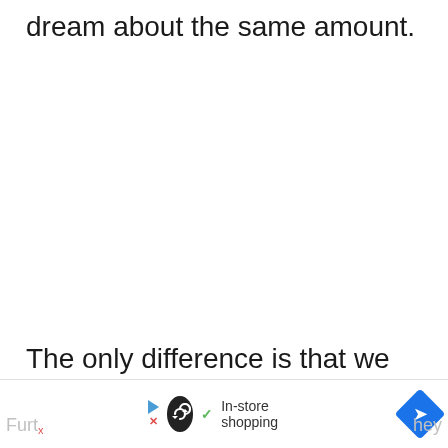dream about the same amount.
The only difference is that we all have a different level of dream recall.
[Figure (other): Advertisement bar at the bottom with a play/X icon on the left, a black circle loop icon, a checkmark with 'In-store shopping' text in the center, and a blue diamond navigation arrow on the right. 'Furt' and 'hey' text visible at the bottom corners.]